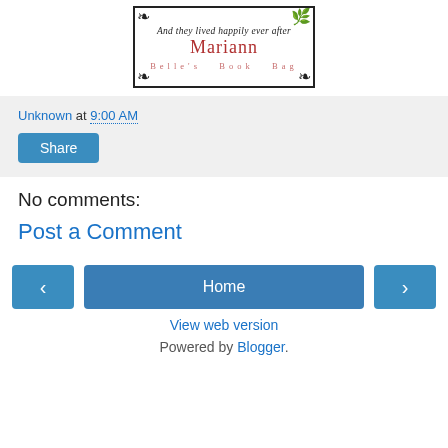[Figure (logo): Blog header logo: cursive text 'And they lived happily ever after', bold red 'Mariann', and subtitle 'Belle's Book Bag' with decorative corners]
Unknown at 9:00 AM
Share
No comments:
Post a Comment
< Home >
View web version
Powered by Blogger.